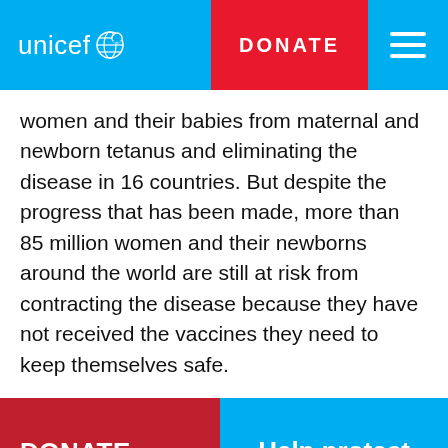unicef DONATE
women and their babies from maternal and newborn tetanus and eliminating the disease in 16 countries. But despite the progress that has been made, more than 85 million women and their newborns around the world are still at risk from contracting the disease because they have not received the vaccines they need to keep themselves safe.
DONATE NOW
Help protect children
unicef | for every ch